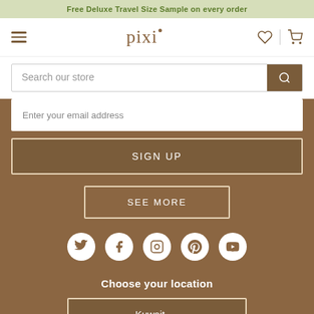Free Deluxe Travel Size Sample on every order
[Figure (screenshot): Pixi beauty store navigation bar with hamburger menu, Pixi logo, heart icon and cart icon]
Search our store
Enter your email address
SIGN UP
SEE MORE
[Figure (illustration): Social media icons: Twitter, Facebook, Instagram, Pinterest, YouTube]
Choose your location
Kuwait